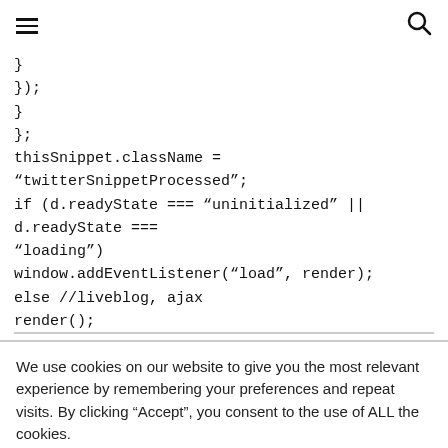hamburger menu | search icon
}
});
}
};
thisSnippet.className = “twitterSnippetProcessed”;
if (d.readyState === “uninitialized” || d.readyState === “loading”)
window.addEventListener(“load”, render);
else //liveblog, ajax
render();
We use cookies on our website to give you the most relevant experience by remembering your preferences and repeat visits. By clicking “Accept”, you consent to the use of ALL the cookies.
Do not sell my personal information.
Cookie settings  ACCEPT